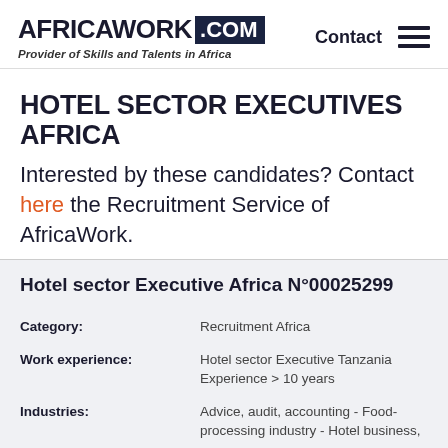AFRICAWORK .COM — Provider of Skills and Talents in Africa | Contact
HOTEL SECTOR EXECUTIVES AFRICA
Interested by these candidates? Contact here the Recruitment Service of AfricaWork.
Hotel sector Executive Africa N°00025299
| Field | Value |
| --- | --- |
| Category: | Recruitment Africa |
| Work experience: | Hotel sector Executive Tanzania Experience > 10 years |
| Industries: | Advice, audit, accounting - Food-processing industry - Hotel business, |